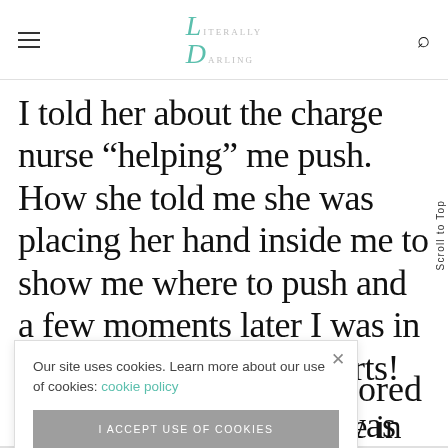Literally Darling — navigation header with hamburger menu and search icon
I told her about the charge nurse “helping” me push. How she told me she was placing her hand inside me to show me where to push and a few moments later I was in immense pain. “That hurts! That hurts! …nored me… was doing… se in the
Our site uses cookies. Learn more about our use of cookies: cookie policy
I ACCEPT USE OF COOKIES
Scroll to Top